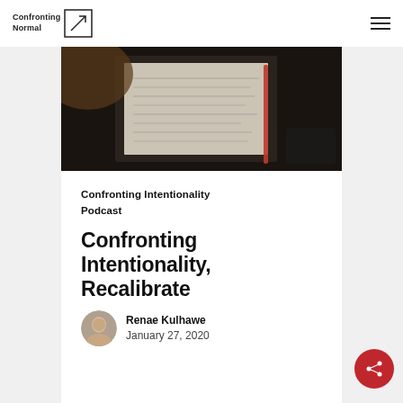Confronting Normal
[Figure (photo): Dark overhead photo of a notebook with handwritten notes and a pen, alongside what appears to be a phone or device]
Confronting Intentionality
Podcast
Confronting Intentionality, Recalibrate
Renae Kulhawe
January 27, 2020